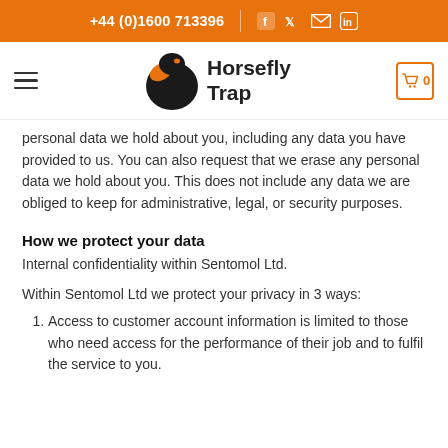+44 (0)1600 713396
[Figure (logo): Horsefly Trap logo with black horsefly graphic and text 'Horsefly Trap']
personal data we hold about you, including any data you have provided to us. You can also request that we erase any personal data we hold about you. This does not include any data we are obliged to keep for administrative, legal, or security purposes.
How we protect your data
Internal confidentiality within Sentomol Ltd.
Within Sentomol Ltd we protect your privacy in 3 ways:
Access to customer account information is limited to those who need access for the performance of their job and to fulfil the service to you.